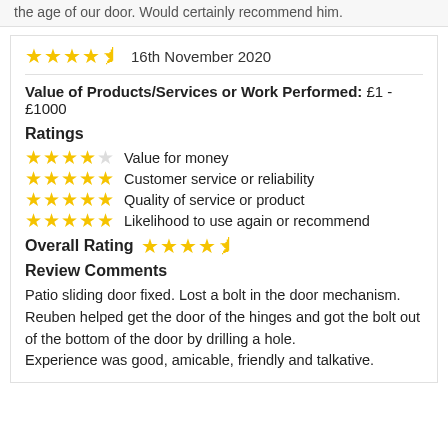the age of our door. Would certainly recommend him.
16th November 2020
Value of Products/Services or Work Performed: £1 - £1000
Ratings
★★★★☆ Value for money
★★★★★ Customer service or reliability
★★★★★ Quality of service or product
★★★★★ Likelihood to use again or recommend
Overall Rating ★★★★½
Review Comments
Patio sliding door fixed. Lost a bolt in the door mechanism. Reuben helped get the door of the hinges and got the bolt out of the bottom of the door by drilling a hole.
Experience was good, amicable, friendly and talkative.